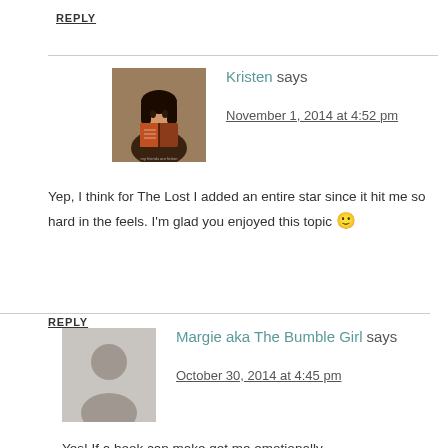REPLY
Kristen says
November 1, 2014 at 4:52 pm
Yep, I think for The Lost I added an entire star since it hit me so hard in the feels. I'm glad you enjoyed this topic 🙂
REPLY
Margie aka The Bumble Girl says
October 30, 2014 at 4:45 pm
Yes! If a book can make get me emotionally